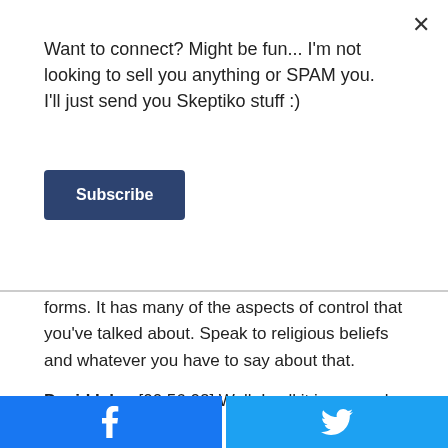Want to connect? Might be fun... I'm not looking to sell you anything or SPAM you. I'll just send you Skeptiko stuff :)
Subscribe
forms. It has many of the aspects of control that you've talked about. Speak to religious beliefs and whatever you have to say about that.
David Icke: [00:56:02] Well, I call it in general the God program, and we have all of these religions, Alex, but when you break it down, when you break the God program down, it operates the same, it's a blueprint, and all of the different names and different rituals, they kind of obscure the fact that actually it is a very simple blueprint. And you've mentioned part of it there in that, you know I
[Figure (other): Facebook and Twitter share buttons at the bottom of the page]